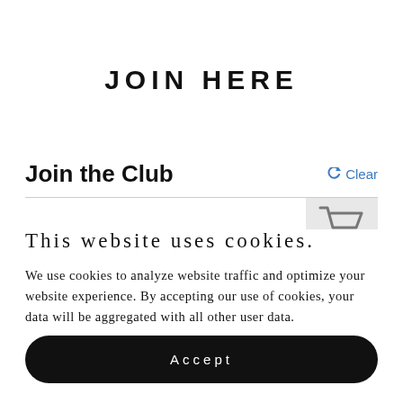JOIN HERE
Join the Club
Clear
[Figure (illustration): Shopping cart icon in gray]
This website uses cookies.
We use cookies to analyze website traffic and optimize your website experience. By accepting our use of cookies, your data will be aggregated with all other user data.
Accept